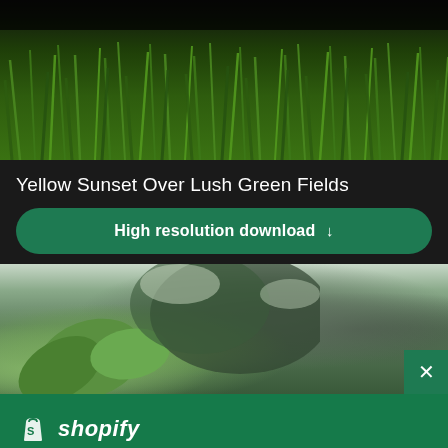[Figure (photo): Green grass field photo, close-up view of lush green grass blades with dark overlay at top]
Yellow Sunset Over Lush Green Fields
High resolution download ↓
[Figure (photo): Blurred outdoor photo showing green leaves in foreground and trees in background with bright sky]
[Figure (logo): Shopify logo with shopping bag icon and italic 'shopify' text in white]
Need an online store for your business?
Start free trial